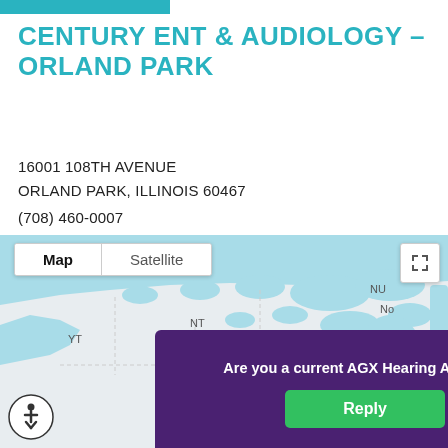CENTURY ENT & AUDIOLOGY – ORLAND PARK
16001 108TH AVENUE
ORLAND PARK, ILLINOIS 60467
(708) 460-0007
[Figure (map): Google Maps embedded map showing Canada with provinces labeled (YT, NT, NU, AB, MB, QC) and surrounding water in blue. Map/Satellite toggle visible at top left, fullscreen button at top right.]
Are you a current AGX Hearing Aid user?
Reply